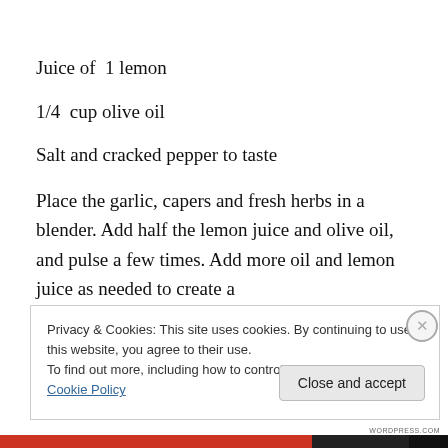Juice of  1 lemon
1/4  cup olive oil
Salt and cracked pepper to taste
Place the garlic, capers and fresh herbs in a blender. Add half the lemon juice and olive oil, and pulse a few times. Add more oil and lemon juice as needed to create a
Privacy & Cookies: This site uses cookies. By continuing to use this website, you agree to their use.
To find out more, including how to control cookies, see here: Cookie Policy
Close and accept